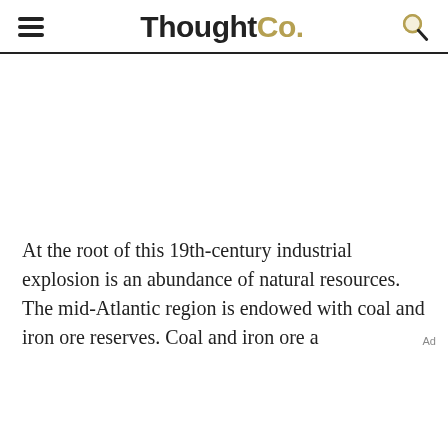ThoughtCo.
At the root of this 19th-century industrial explosion is an abundance of natural resources. The mid-Atlantic region is endowed with coal and iron ore reserves. Coal and iron ore a